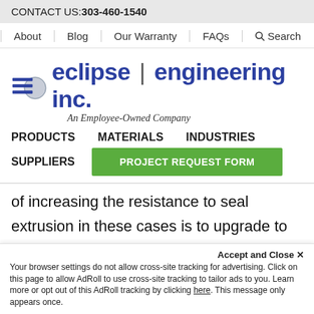CONTACT US: 303-460-1540
About | Blog | Our Warranty | FAQs | Search
[Figure (logo): Eclipse Engineering Inc. logo with globe icon and tagline 'An Employee-Owned Company']
PRODUCTS   MATERIALS   INDUSTRIES
SUPPLIERS   PROJECT REQUEST FORM
of increasing the resistance to seal extrusion in these cases is to upgrade to and extended heel design. The addition of extra seal jacket material protects the functioning (spring) side of the seal from
Accept and Close ✕
Your browser settings do not allow cross-site tracking for advertising. Click on this page to allow AdRoll to use cross-site tracking to tailor ads to you. Learn more or opt out of this AdRoll tracking by clicking here. This message only appears once.